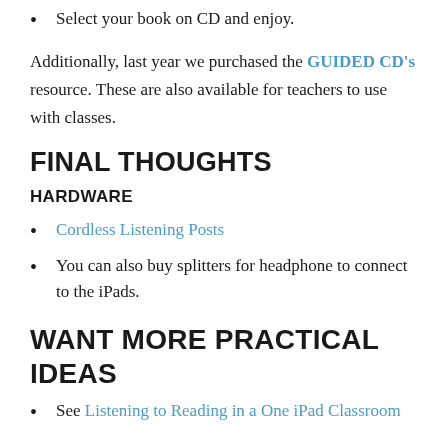Select your book on CD and enjoy.
Additionally, last year we purchased the GUIDED CD's resource. These are also available for teachers to use with classes.
FINAL THOUGHTS
HARDWARE
Cordless Listening Posts
You can also buy splitters for headphone to connect to the iPads.
WANT MORE PRACTICAL IDEAS
See Listening to Reading in a One iPad Classroom